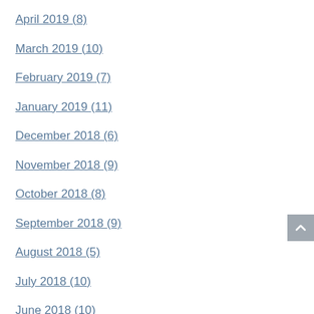April 2019 (8)
March 2019 (10)
February 2019 (7)
January 2019 (11)
December 2018 (6)
November 2018 (9)
October 2018 (8)
September 2018 (9)
August 2018 (5)
July 2018 (10)
June 2018 (10)
May 2018 (3)